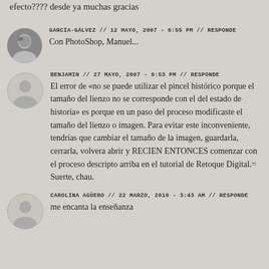efecto???? desde ya muchas gracias
GARCÍA-GÁLVEZ // 12 MAYO, 2007 - 6:55 PM // RESPONDE
Con PhotoShop, Manuel...
BENJAMIN // 27 MAYO, 2007 - 9:53 PM // RESPONDE
El error de «no se puede utilizar el pincel histórico porque el tamaño del lienzo no se corresponde con el del estado de historia» es porque en un paso del proceso modificaste el tamaño del lienzo o imagen. Para evitar este inconveniente, tendrias que cambiar el tamaño de la imagen, guardarla, cerrarla, volvera abrir y RECIEN ENTONCES comenzar con el proceso descripto arriba en el tutorial de Retoque Digital.=
Suerte, chau.
CAROLINA AGÜERO // 22 MARZO, 2010 - 3:43 AM // RESPONDE
me encanta la enseñanza